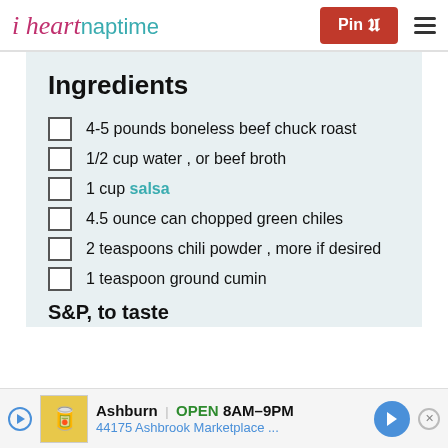i heart naptime | Pin
Ingredients
4-5 pounds boneless beef chuck roast
1/2 cup water , or beef broth
1 cup salsa
4.5 ounce can chopped green chiles
2 teaspoons chili powder , more if desired
1 teaspoon ground cumin
S&P, to taste
Ashburn OPEN 8AM-9PM 44175 Ashbrook Marketplace ...